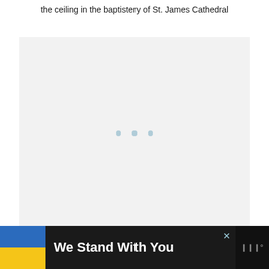the ceiling in the baptistery of St. James Cathedral
[Figure (photo): A large light gray rectangular image placeholder area with three small light blue dots centered in the lower middle portion, representing a loading or placeholder image of the ceiling in the baptistery of St. James Cathedral]
We Stand With You